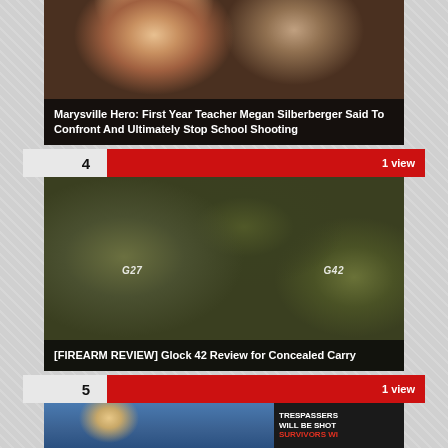[Figure (photo): Partial top of article card showing two people (a blonde woman and a man), overlaid with article title about Marysville Hero teacher Megan Silberberger]
Marysville Hero: First Year Teacher Megan Silberberger Said To Confront And Ultimately Stop School Shooting
4   1 view
[Figure (photo): Photo of two Glock handguns (G27 and G42) side by side on camouflage background, with labels G27 and G42 overlaid]
[FIREARM REVIEW] Glock 42 Review for Concealed Carry
5   1 view
[Figure (photo): Partial bottom card showing a blonde female news anchor and a sign reading TRESPASSERS WILL BE SHOT SURVIVORS WI...]